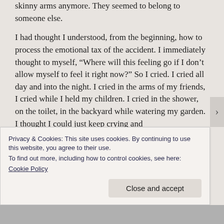skinny arms anymore. They seemed to belong to someone else.
I had thought I understood, from the beginning, how to process the emotional tax of the accident. I immediately thought to myself, “Where will this feeling go if I don’t allow myself to feel it right now?” So I cried. I cried all day and into the night. I cried in the arms of my friends, I cried while I held my children. I cried in the shower, on the toilet, in the backyard while watering my garden. I thought I could just keep crying and
Privacy & Cookies: This site uses cookies. By continuing to use this website, you agree to their use.
To find out more, including how to control cookies, see here:
Cookie Policy
Close and accept